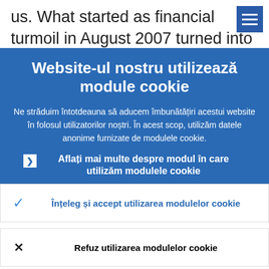us. What started as financial turmoil in August 2007 turned into a global financial
[Figure (screenshot): Hamburger menu icon (three white horizontal lines on blue background)]
Website-ul nostru utilizează module cookie
Ne străduim întotdeauna să aducem îmbunătățiri acestui website în folosul utilizatorilor noștri. În acest scop, utilizăm datele anonime furnizate de modulele cookie.
Aflați mai multe despre modul în care utilizăm modulele cookie
Înțeleg și accept utilizarea modulelor cookie
Refuz utilizarea modulelor cookie